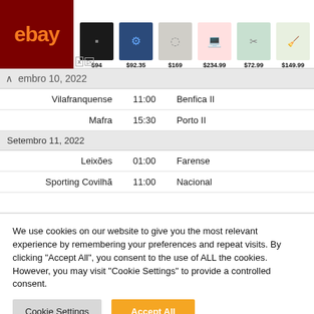[Figure (screenshot): eBay advertisement banner showing products with prices: $94, $92.35, $169, $234.99, $72.99, $149.99]
| Team 1 | Time | Team 2 |
| --- | --- | --- |
| setembro 10, 2022 |  |  |
| Vilafranquense | 11:00 | Benfica II |
| Mafra | 15:30 | Porto II |
| Setembro 11, 2022 |  |  |
| Leixões | 01:00 | Farense |
| Sporting Covilhã | 11:00 | Nacional |
We use cookies on our website to give you the most relevant experience by remembering your preferences and repeat visits. By clicking "Accept All", you consent to the use of ALL the cookies. However, you may visit "Cookie Settings" to provide a controlled consent.
Cookie Settings | Accept All